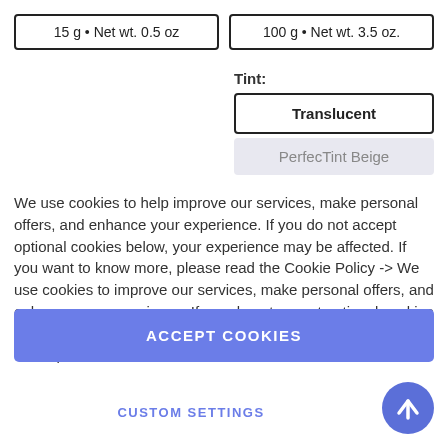15 g • Net wt. 0.5 oz
100 g • Net wt. 3.5 oz.
Tint:
Translucent
PerfecTint Beige
We use cookies to help improve our services, make personal offers, and enhance your experience. If you do not accept optional cookies below, your experience may be affected. If you want to know more, please read the Cookie Policy -> We use cookies to improve our services, make personal offers, and enhance your experience. If you do not accept optional cookies below, your experience may be affected. If you want to know more, please.
ACCEPT COOKIES
CUSTOM SETTINGS